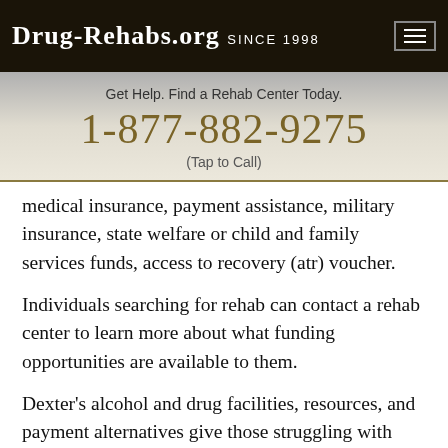Drug-Rehabs.org Since 1998
Get Help. Find a Rehab Center Today.
1-877-882-9275
(Tap to Call)
medical insurance, payment assistance, military insurance, state welfare or child and family services funds, access to recovery (atr) voucher.
Individuals searching for rehab can contact a rehab center to learn more about what funding opportunities are available to them.
Dexter's alcohol and drug facilities, resources, and payment alternatives give those struggling with alcohol and drug dependency an opportunity to start a lasting sobriety plan.